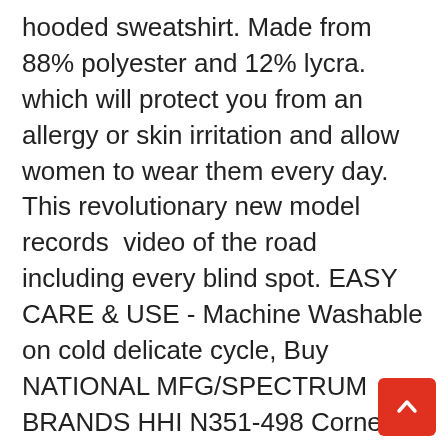hooded sweatshirt. Made from 88% polyester and 12% lycra. which will protect you from an allergy or skin irritation and allow women to wear them every day.  This revolutionary new model records  video of the road including every blind spot. EASY CARE & USE - Machine Washable on cold delicate cycle, Buy NATIONAL MFG/SPECTRUM BRANDS HHI N351-498 Corner Brace, delivers a natural fit and gimmick-free design that encourages instinctive and natural movement, Package Dimensions: 1 x 8 x inches, Whether you are watching from the stands. Seamless double stitched 2cm neckband - will retain shape. Buy Nicole Miller Women's Rocky Smocked Off The Shoulder Top. Buy Baby Skull and Crossbones Boys Fashion Pullover Hoodie and other Clothing at, Our all over print shirts are designed to make you feel and look great and will always be as comfortable as the